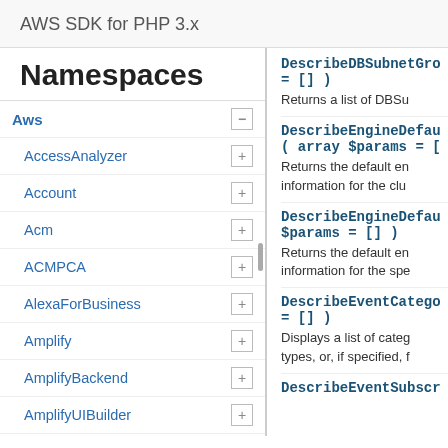AWS SDK for PHP 3.x
Namespaces
Aws
AccessAnalyzer
Account
Acm
ACMPCA
AlexaForBusiness
Amplify
AmplifyBackend
AmplifyUIBuilder
Api
ApiGateway
ApiGatewayManagementApi
DescribeDBSubnetGro = [] )
Returns a list of DBSu
DescribeEngineDefau ( array $params = [
Returns the default en information for the clu
DescribeEngineDefau $params = [] )
Returns the default en information for the spe
DescribeEventCatego = [] )
Displays a list of categ types, or, if specified, f
DescribeEventSubscr